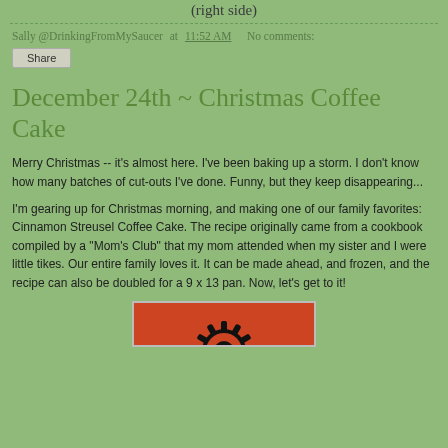(right side)
Sally @DrinkingFromMySaucer at 11:52 AM   No comments:
Share
December 24th ~ Christmas Coffee Cake
Merry Christmas -- it's almost here.  I've been baking up a storm.  I don't know how many batches of cut-outs I've done.  Funny, but they keep disappearing...
I'm gearing up for Christmas morning, and making one of our family favorites: Cinnamon Streusel Coffee Cake.  The recipe originally came from a cookbook compiled by a "Mom's Club" that my mom attended when my sister and I were little tikes.  Our entire family loves it.  It can be made ahead, and frozen, and the recipe can also be doubled for a 9 x 13 pan.  Now, let's get to it!
[Figure (photo): Red background with a black gear/snowflake image at the bottom, partially visible]